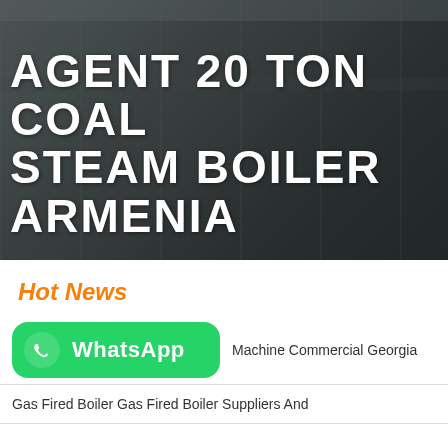[Figure (photo): Industrial warehouse/factory interior showing large boiler equipment and structural steel columns, with dark overlay tint]
AGENT 20 TON COAL STEAM BOILER ARMENIA
Hot News
[Figure (logo): WhatsApp button (green rounded rectangle with phone icon and WhatsApp text)]
Machine Commercial Georgia
Gas Fired Boiler Gas Fired Boiler Suppliers And